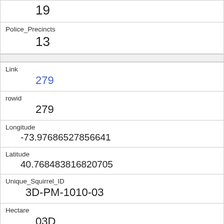| 19 |
| Police_Precincts | 13 |
| Link | 279 |
| rowid | 279 |
| Longitude | -73.97686527856641 |
| Latitude | 40.768483816820705 |
| Unique_Squirrel_ID | 3D-PM-1010-03 |
| Hectare | 03D |
| Shift | PM |
| Date | 1010 |
| Hectare_Squirrel_Number |  |